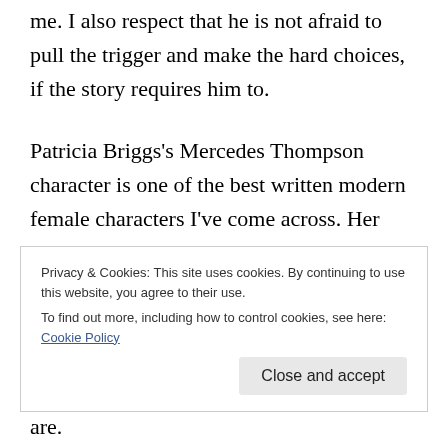me. I also respect that he is not afraid to pull the trigger and make the hard choices, if the story requires him to.
Patricia Briggs's Mercedes Thompson character is one of the best written modern female characters I've come across. Her ability to be both strong and real in a fantasy world is inspiring and refreshing to see. I also like that all of her supporting characters each feel
Privacy & Cookies: This site uses cookies. By continuing to use this website, you agree to their use. To find out more, including how to control cookies, see here: Cookie Policy
Close and accept
are.